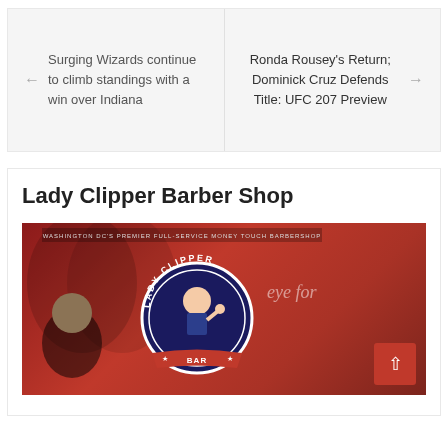← Surging Wizards continue to climb standings with a win over Indiana
Ronda Rousey's Return; Dominick Cruz Defends Title: UFC 207 Preview →
Lady Clipper Barber Shop
[Figure (photo): Lady Clipper Barber Shop promotional image with red background, showing the Lady Clipper logo (circular badge with a woman flexing), text 'Washington DC's Premier Full-Service Money Touch Barbershop', and a woman's photo on the left side. Text 'eye for' visible on the right.]